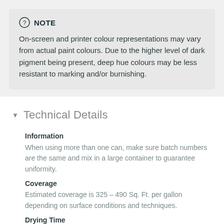NOTE
On-screen and printer colour representations may vary from actual paint colours. Due to the higher level of dark pigment being present, deep hue colours may be less resistant to marking and/or burnishing.
Technical Details
Information
When using more than one can, make sure batch numbers are the same and mix in a large container to guarantee uniformity.
Coverage
Estimated coverage is 325 – 490 Sq. Ft. per gallon depending on surface conditions and techniques.
Drying Time